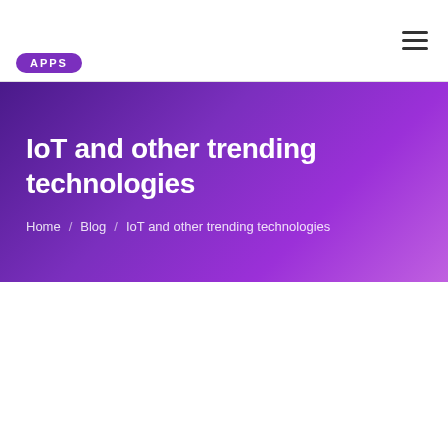DXB APPS logo and navigation
IoT and other trending technologies
Home / Blog / IoT and other trending technologies